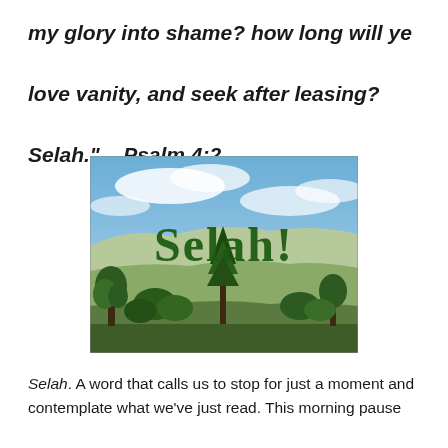my glory into shame? how long will ye love vanity, and seek after leasing? Selah." – Psalm 4:2
[Figure (photo): Landscape photo showing a hillside view with trees, fields, and mountains in the background under a partly cloudy sky. Large green text 'Selah!' is overlaid on the image.]
Selah. A word that calls us to stop for just a moment and contemplate what we've just read. This morning pause